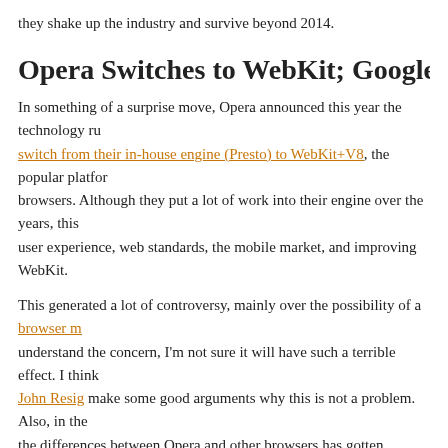they shake up the industry and survive beyond 2014.
Opera Switches to WebKit; Google F
In something of a surprise move, Opera announced this year the technology ru switch from their in-house engine (Presto) to WebKit+V8, the popular platfor browsers. Although they put a lot of work into their engine over the years, this user experience, web standards, the mobile market, and improving WebKit.
This generated a lot of controversy, mainly over the possibility of a browser m understand the concern, I'm not sure it will have such a terrible effect. I think John Resig make some good arguments why this is not a problem. Also, in the the differences between Opera and other browsers has gotten smaller, as Chro improve their web standards support. Sadly, the biggest counterargument may market share (outside of phones and some Asian regions). For me, the biggest nostalgia of Opera as the good but “little guy” browser.
In a weird bit of karma, Google later announced that they were forking the We version (called Blink), so that they could innovate the engine faster and not wo architectures. Although it is very similar to WebKit, it may placate those who